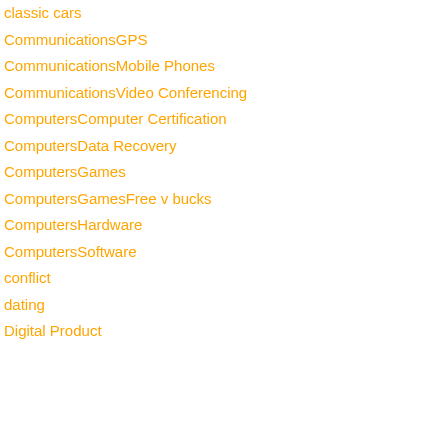classic cars
CommunicationsGPS
CommunicationsMobile Phones
CommunicationsVideo Conferencing
ComputersComputer Certification
ComputersData Recovery
ComputersGames
ComputersGamesFree v bucks
ComputersHardware
ComputersSoftware
conflict
dating
Digital Product